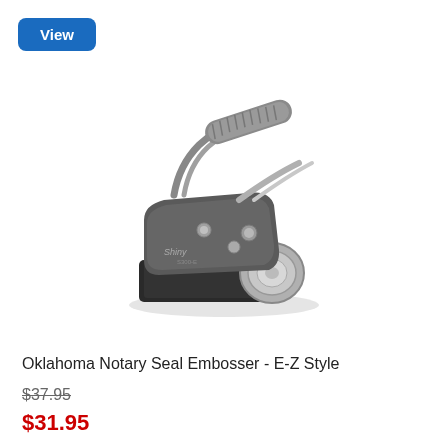View
[Figure (photo): Oklahoma Notary Seal Embosser E-Z Style product photo showing a metal hand-held embossing tool with gray rubber grip handle and chrome die mechanism on a black base]
Oklahoma Notary Seal Embosser - E-Z Style
$37.95
$31.95